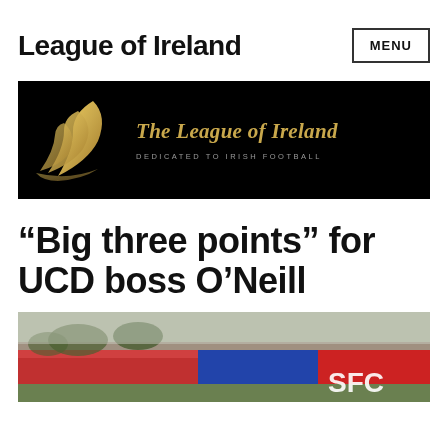League of Ireland
[Figure (logo): The League of Ireland banner with gold swoosh logo on black background, text reads 'The League of Ireland' and 'DEDICATED TO IRISH FOOTBALL']
“Big three points” for UCD boss O’Neill
[Figure (photo): Stadium photo showing football ground with red stands and 'SFC' signage visible]